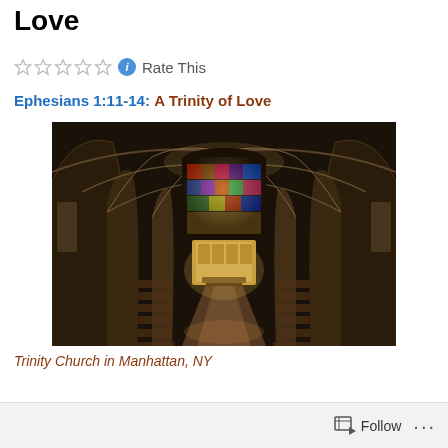Love
Rate This
Ephesians 1:11-14: A Trinity of Love
[Figure (photo): Interior of Trinity Church in Manhattan, NY — a Gothic cathedral with vaulted stone arches, wooden pews along a central aisle, and a large colorful stained glass rose window above the altar.]
Trinity Church in Manhattan, NY
Follow